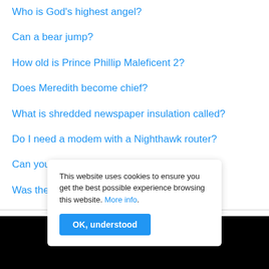Who is God's highest angel?
Can a bear jump?
How old is Prince Phillip Maleficent 2?
Does Meredith become chief?
What is shredded newspaper insulation called?
Do I need a modem with a Nighthawk router?
Can you give a dog human melatonin?
Was the White House ever pink?
This website uses cookies to ensure you get the best possible experience browsing this website. More info.
OK, understood